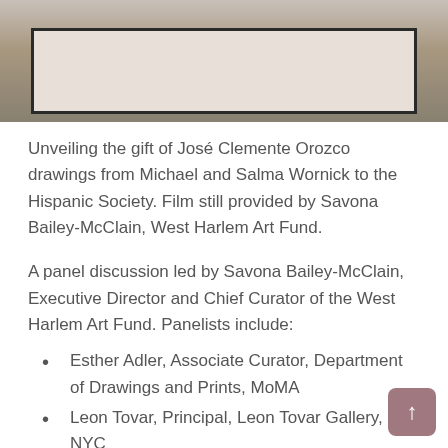[Figure (photo): Photograph showing framed artworks, likely drawings, partially visible against a dark background.]
Unveiling the gift of José Clemente Orozco drawings from Michael and Salma Wornick to the Hispanic Society. Film still provided by Savona Bailey-McClain, West Harlem Art Fund.
A panel discussion led by Savona Bailey-McClain, Executive Director and Chief Curator of the West Harlem Art Fund. Panelists include:
Esther Adler, Associate Curator, Department of Drawings and Prints, MoMA
Leon Tovar, Principal, Leon Tovar Gallery, NYC